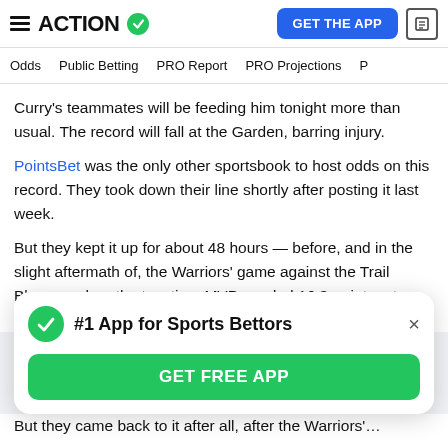ACTION [logo] | GET THE APP
Odds | Public Betting | PRO Report | PRO Projections
Curry's teammates will be feeding him tonight more than usual. The record will fall at the Garden, barring injury.
PointsBet was the only other sportsbook to host odds on this record. They took down their line shortly after posting it last week.
But they kept it up for about 48 hours — before, and in the slight aftermath of, the Warriors' game against the Trail Blazers, when the two-time MVP needed 16 3-pointers to beat the record.
[Figure (infographic): #1 App for Sports Bettors banner with GET FREE APP button]
Partial bottom text (clipped)